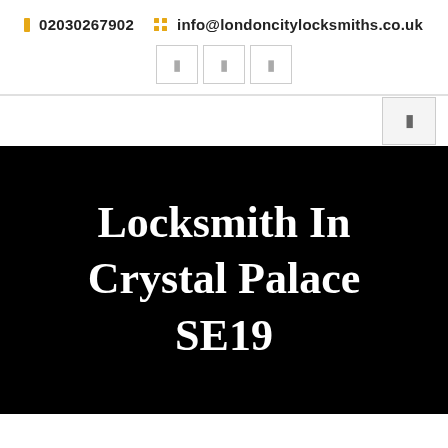☎ 02030267902   ⊞ info@londoncitylocksmiths.co.uk
[Figure (screenshot): Three social media icon buttons (Facebook, Twitter, another) in outlined square boxes]
[Figure (screenshot): Navigation hamburger/menu button in light gray square]
Locksmith In Crystal Palace SE19